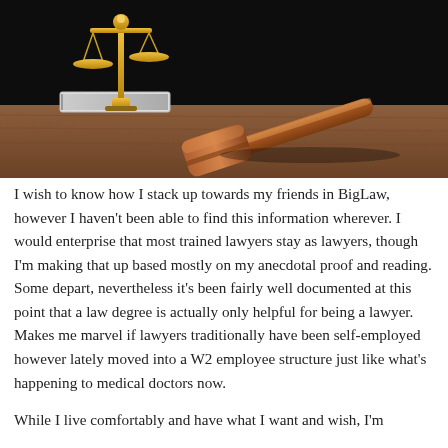[Figure (photo): Photo of a wooden judge's gavel resting on a sound block on a wooden surface, with a set of brass balance scales (scales of justice) and a book in the background, against a dark/black background.]
I wish to know how I stack up towards my friends in BigLaw, however I haven't been able to find this information wherever. I would enterprise that most trained lawyers stay as lawyers, though I'm making that up based mostly on my anecdotal proof and reading. Some depart, nevertheless it's been fairly well documented at this point that a law degree is actually only helpful for being a lawyer. Makes me marvel if lawyers traditionally have been self-employed however lately moved into a W2 employee structure just like what's happening to medical doctors now.
While I live comfortably and have what I want and wish, I'm